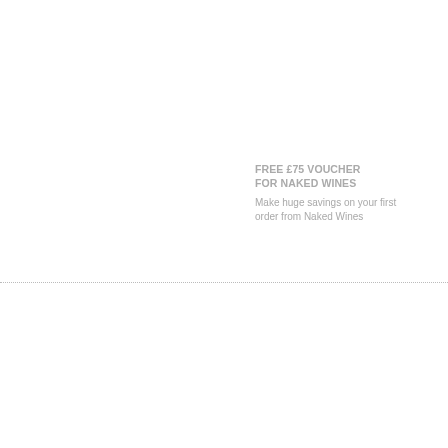SAVE £100 ON 12 BOTTLES OF WINE FROM LAITHWAITES
Enjoy a 12-bottle selection of wine for just £65 with free delivery
FREE £75 VOUCHER FOR NAKED WINES
Make huge savings on your first order from Naked Wines